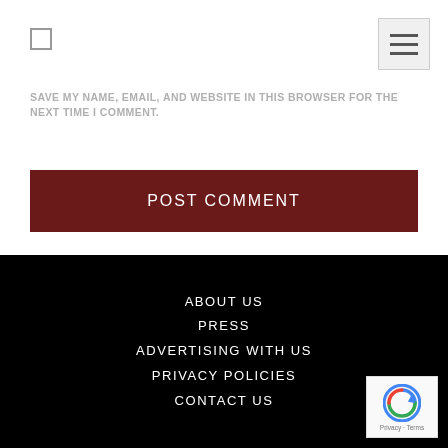SAVE MY NAME, EMAIL, AND WEBSITE IN THIS BROWSER FOR THE NEXT TIME I COMMENT.
POST COMMENT
ABOUT US
PRESS
ADVERTISING WITH US
PRIVACY POLICIES
CONTACT US